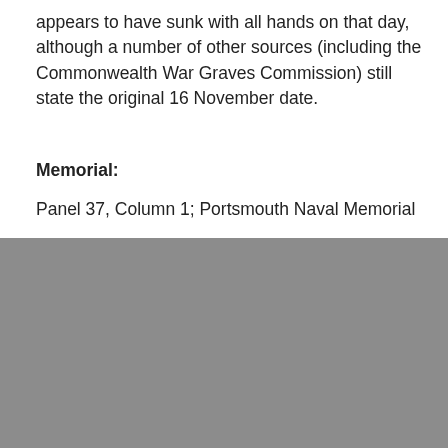appears to have sunk with all hands on that day, although a number of other sources (including the Commonwealth War Graves Commission) still state the original 16 November date.
Memorial:
Panel 37, Column 1; Portsmouth Naval Memorial
The photograph of Harry Arthur Stacey is
A cookie is a small text file containing information that a website transfers to your computer's hard disk for record-keeping purposes and allows us to analyse our site traffic patterns. It does not contain chocolate chips, you cannot eat it and there is no special hidden jar.
Accept